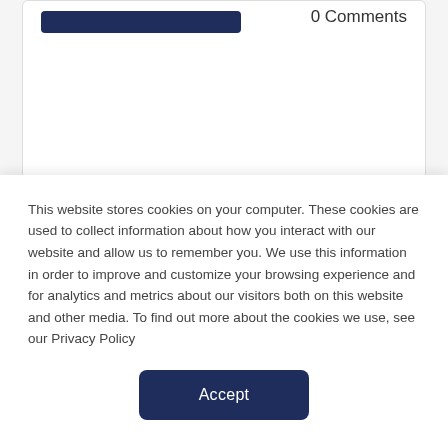[Figure (other): Dark navy blue rectangle representing an image placeholder in the top card]
0 Comments
8 Hiking Safety Tips for
This website stores cookies on your computer. These cookies are used to collect information about how you interact with our website and allow us to remember you. We use this information in order to improve and customize your browsing experience and for analytics and metrics about our visitors both on this website and other media. To find out more about the cookies we use, see our Privacy Policy
Accept